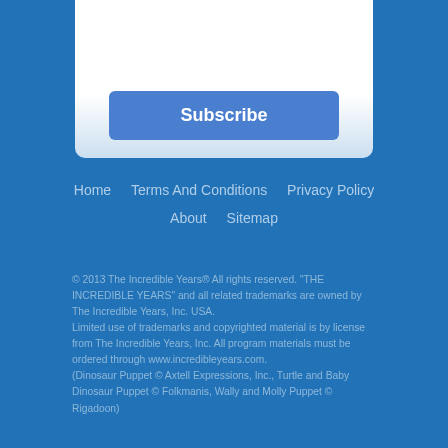[Figure (screenshot): A white card panel at the top with a blue Subscribe button, partially visible decorative elements at the top edge.]
Subscribe
Home   Terms And Conditions   Privacy Policy   About   Sitemap
© 2013 The Incredible Years® All rights reserved. "THE INCREDIBLE YEARS" and all related trademarks are owned by The Incredible Years, Inc. USA.
Limited use of trademarks and copyrighted material is by license from The Incredible Years, Inc. All program materials must be ordered through www.incredibleyears.com.
(Dinosaur Puppet © Axtell Expressions, Inc., Turtle and Baby Dinosaur Puppet © Folkmanis, Wally and Molly Puppet © Rigadoon)